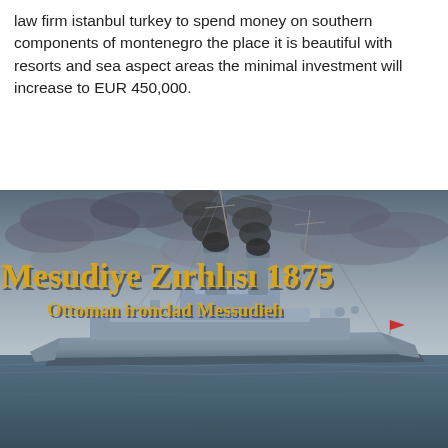law firm istanbul turkey to spend money on southern components of montenegro the place it is beautiful with resorts and sea aspect areas the minimal investment will increase to EUR 450,000.
[Figure (illustration): Illustrated image of the Ottoman ironclad warship Messudieh (Mesudiye Zırhlısı) from 1875, shown sailing on water with dark smoke rising from two funnels. The ship is shown in a grey-blue color scheme against a cloudy sky. Text overlay reads 'Mesudiye Zırhlısı 1875' in gold serif font and 'Ottoman ironclad Messudieh' in gold below it.]